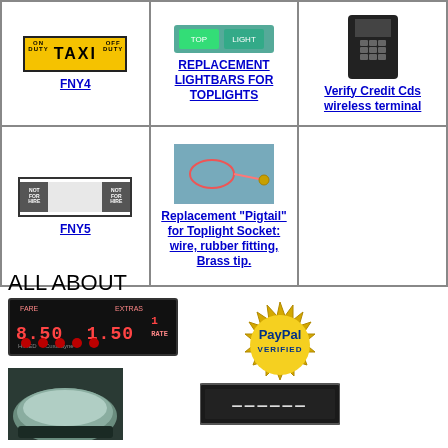| Col1 | Col2 | Col3 |
| --- | --- | --- |
| FNY4 | REPLACEMENT LIGHTBARS FOR TOPLIGHTS | Verify Credit Cds wireless terminal |
| FNY5 | Replacement "Pigtail" for Toplight Socket: wire, rubber fitting, Brass tip. | (empty) |
ALL ABOUT
[Figure (photo): Taximeter device showing FARE 8.50 and EXTRAS 1.50, labeled Custodyne]
[Figure (logo): PayPal Verified gold badge/seal]
[Figure (photo): Taxi dome toplight partial view]
[Figure (photo): Meter or receipt strip device]